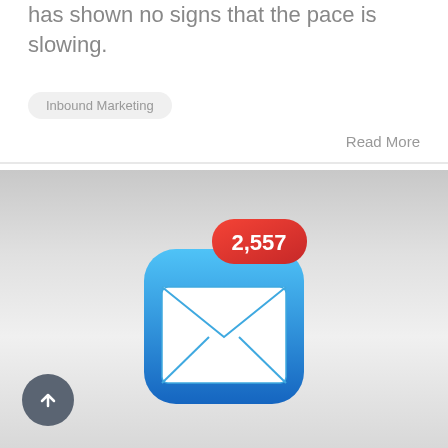has shown no signs that the pace is slowing.
Inbound Marketing
Read More
[Figure (illustration): iOS Mail app icon showing a blue gradient square with white envelope, and a red badge notification showing 2,557 unread messages. Background is a gray gradient.]